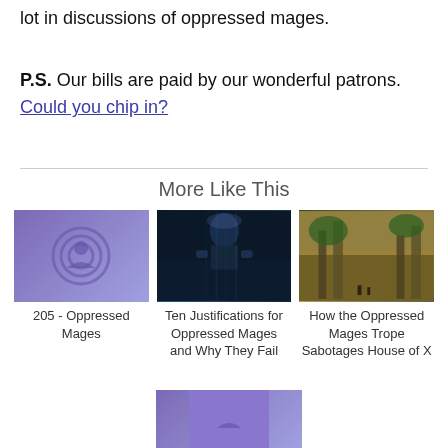lot in discussions of oppressed mages.
P.S. Our bills are paid by our wonderful patrons. Could you chip in?
More Like This
[Figure (photo): Purple podcast icon with concentric circles and person silhouette]
205 - Oppressed Mages
[Figure (photo): Sci-fi fantasy scene with large mech/creature in dark blue rainy setting]
Ten Justifications for Oppressed Mages and Why They Fail
[Figure (photo): Fantasy ruins scene with warm tones, plants, and small figures]
How the Oppressed Mages Trope Sabotages House of X
[Figure (photo): Partial purple podcast icon at bottom of page]